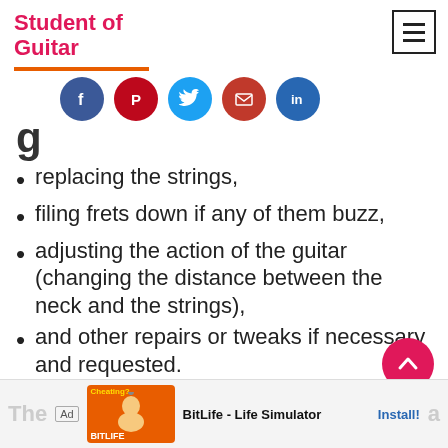Student of Guitar
[Figure (infographic): Social share buttons: Facebook (blue), Pinterest (red), Twitter (cyan), Email (dark red), LinkedIn (blue)]
replacing the strings,
filing frets down if any of them buzz,
adjusting the action of the guitar (changing the distance between the neck and the strings),
and other repairs or tweaks if necessary and requested.
Ad | BitLife - Life Simulator | Install!